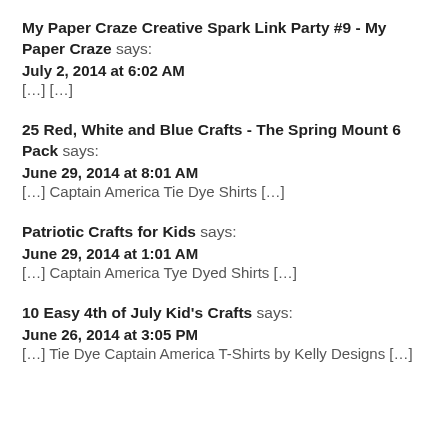My Paper Craze Creative Spark Link Party #9 - My Paper Craze says:
July 2, 2014 at 6:02 AM
[…] […]
25 Red, White and Blue Crafts - The Spring Mount 6 Pack says:
June 29, 2014 at 8:01 AM
[…] Captain America Tie Dye Shirts […]
Patriotic Crafts for Kids says:
June 29, 2014 at 1:01 AM
[…] Captain America Tye Dyed Shirts […]
10 Easy 4th of July Kid's Crafts says:
June 26, 2014 at 3:05 PM
[…] Tie Dye Captain America T-Shirts by Kelly Designs […]